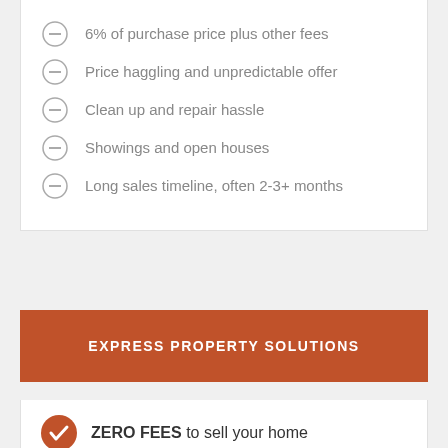6% of purchase price plus other fees
Price haggling and unpredictable offer
Clean up and repair hassle
Showings and open houses
Long sales timeline, often 2-3+ months
EXPRESS PROPERTY SOLUTIONS
ZERO FEES to sell your home